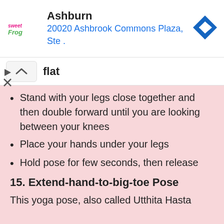[Figure (screenshot): Advertisement banner for sweetFrog at Ashburn, 20020 Ashbrook Commons Plaza, Ste. with navigation arrow icon]
flat
Stand with your legs close together and then double forward until you are looking between your knees
Place your hands under your legs
Hold pose for few seconds, then release
15. Extend-hand-to-big-toe Pose
This yoga pose, also called Utthita Hasta